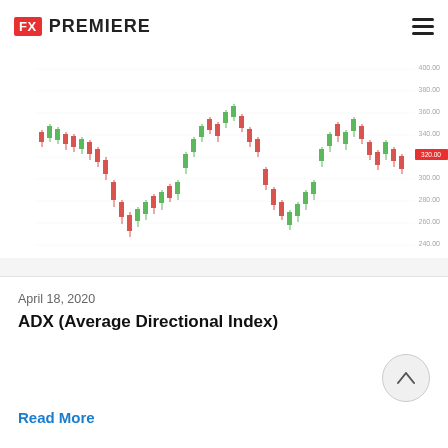FX PREMIERE
[Figure (continuous-plot): Candlestick price chart showing FX pair price action from February to December, with price ranging approximately 140-400. Red and green candlesticks displayed over a white background with right-side y-axis labels including 320.00 highlighted in red.]
[Figure (area-chart): Average Directional Index (ADX) indicator chart shown below the price chart, displaying a red line/area from February to December ranging approximately 12-50. Label 'Average Directional Index (ADX)' shown in chart. Right y-axis labels include 31.09% highlighted in red.]
April 18, 2020
ADX (Average Directional Index)
Read More